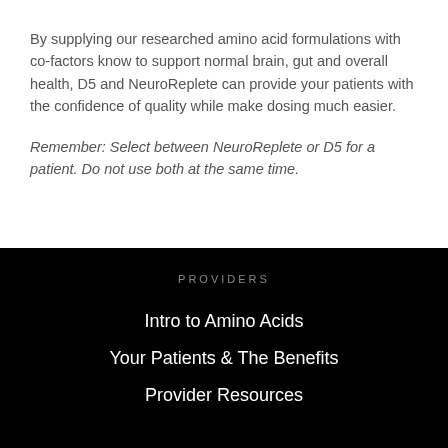By supplying our researched amino acid formulations with co-factors know to support normal brain, gut and overall health, D5 and NeuroReplete can provide your patients with the confidence of quality while make dosing much easier.
Remember: Select between NeuroReplete or D5 for a patient. Do not use both at the same time.
PROVIDERS
Intro to Amino Acids
Your Patients & The Benefits
Provider Resources